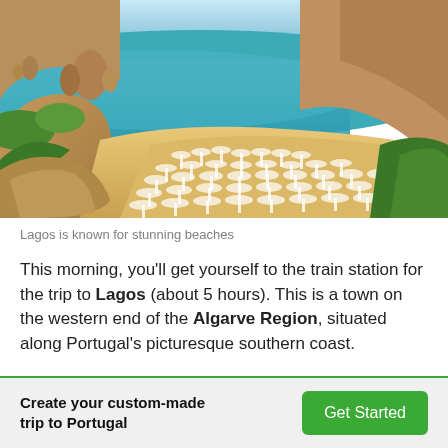[Figure (photo): Aerial view of Lagos, Portugal coastal beach scene with turquoise water, golden sandy beach with beach umbrellas, dramatic limestone cliffs and rock formations, green vegetation in foreground]
Lagos is known for stunning beaches
This morning, you'll get yourself to the train station for the trip to Lagos (about 5 hours). This is a town on the western end of the Algarve Region, situated along Portugal's picturesque southern coast.
Create your custom-made trip to Portugal